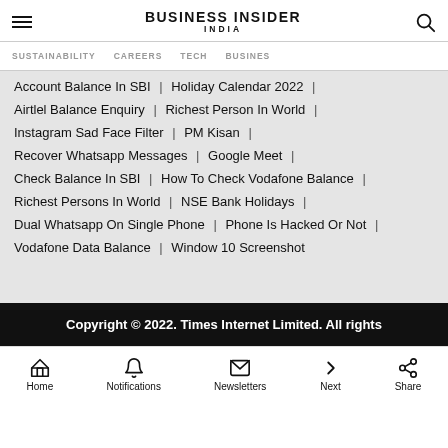BUSINESS INSIDER INDIA
SUSTAINABILITY | CAREERS | TECH | BUSINESS
Account Balance In SBI | Holiday Calendar 2022 |
Airtlel Balance Enquiry | Richest Person In World |
Instagram Sad Face Filter | PM Kisan |
Recover Whatsapp Messages | Google Meet |
Check Balance In SBI | How To Check Vodafone Balance |
Richest Persons In World | NSE Bank Holidays |
Dual Whatsapp On Single Phone | Phone Is Hacked Or Not |
Vodafone Data Balance | Window 10 Screenshot
Copyright © 2022. Times Internet Limited. All rights
Home | Notifications | Newsletters | Next | Share